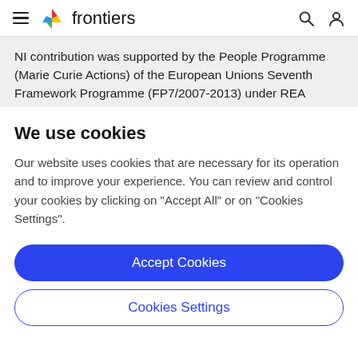frontiers
NI contribution was supported by the People Programme (Marie Curie Actions) of the European Unions Seventh Framework Programme (FP7/2007-2013) under REA grant agreement No. ROOFUND.GA.2013-609191
We use cookies
Our website uses cookies that are necessary for its operation and to improve your experience. You can review and control your cookies by clicking on "Accept All" or on "Cookies Settings".
Accept Cookies
Cookies Settings